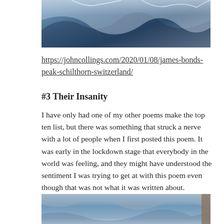[Figure (photo): Aerial or overhead photo of a snowy mountain peak with blue-grey snow and rock surfaces, partially cropped at top of page.]
https://johncollings.com/2020/01/08/james-bonds-peak-schilthorn-switzerland/
#3 Their Insanity
I have only had one of my other poems make the top ten list, but there was something that struck a nerve with a lot of people when I first posted this poem. It was early in the lockdown stage that everybody in the world was feeling, and they might have understood the sentiment I was trying to get at with this poem even though that was not what it was written about.
[Figure (photo): Bottom portion of a photo showing a rocky cliff or mountain face with blue sky and light-coloured rock, partially cropped at bottom of page.]